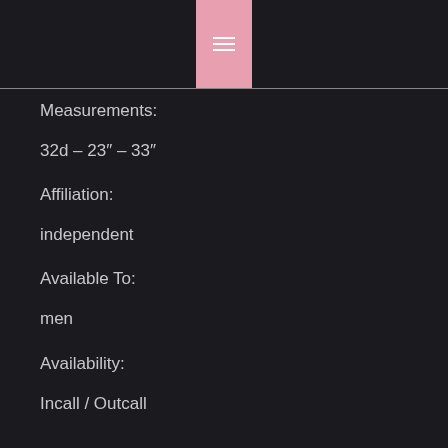☰
Measurements:
32d – 23″ – 33″
Affiliation:
independent
Available To:
men
Availability:
Incall / Outcall